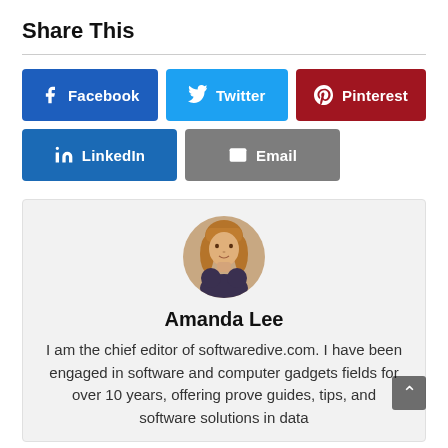Share This
[Figure (infographic): Social share buttons: Facebook (blue), Twitter (light blue), Pinterest (dark red), LinkedIn (blue), Email (gray)]
[Figure (photo): Circular author avatar photo of Amanda Lee, a woman with long blonde hair]
Amanda Lee
I am the chief editor of softwaredive.com. I have been engaged in software and computer gadgets fields for over 10 years, offering prove guides, tips, and software solutions in data